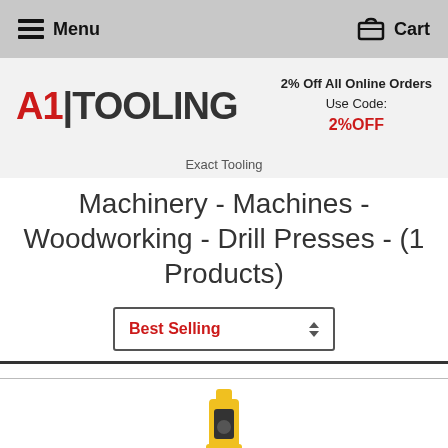Menu   Cart
[Figure (logo): A1 Tooling logo in red and black text]
2% Off All Online Orders
Use Code:
2%OFF
Exact Tooling
Machinery - Machines - Woodworking - Drill Presses - (1 Products)
Best Selling
[Figure (photo): Partial view of a yellow and black power drill press product image at bottom of page]